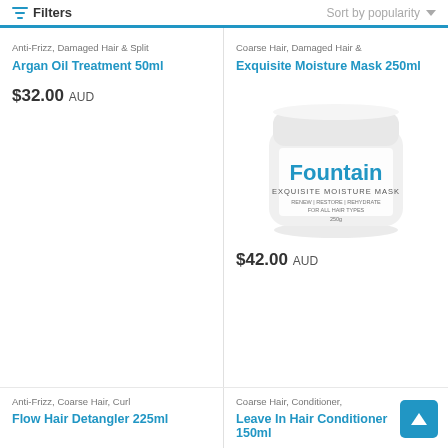Filters  |  Sort by popularity
Anti-Frizz, Damaged Hair & Split
Argan Oil Treatment 50ml
$32.00 AUD
Coarse Hair, Damaged Hair &
Exquisite Moisture Mask 250ml
[Figure (photo): White jar of Fountain Exquisite Moisture Mask 250g product]
$42.00 AUD
Anti-Frizz, Coarse Hair, Curl
Flow Hair Detangler 225ml
Coarse Hair, Conditioner,
Leave In Hair Conditioner 150ml